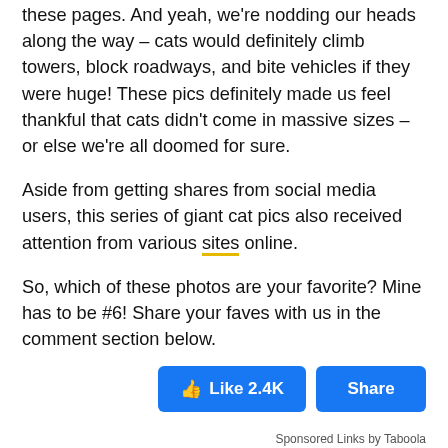these pages. And yeah, we're nodding our heads along the way – cats would definitely climb towers, block roadways, and bite vehicles if they were huge! These pics definitely made us feel thankful that cats didn't come in massive sizes – or else we're all doomed for sure.
Aside from getting shares from social media users, this series of giant cat pics also received attention from various sites online.
So, which of these photos are your favorite? Mine has to be #6! Share your faves with us in the comment section below.
[Figure (other): Two Facebook-style buttons: a 'Like 2.4K' button with thumbs-up icon and a 'Share' button, both in blue.]
Sponsored Links by Taboola